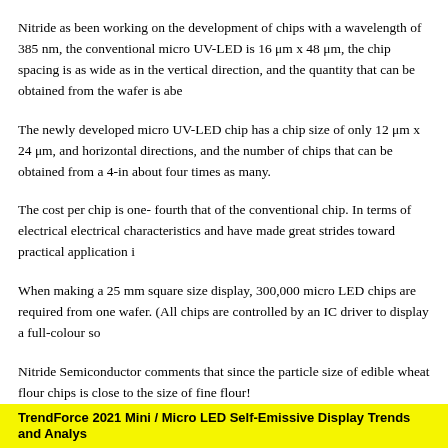Nitride as been working on the development of chips with a wavelength of 385 nm, the conventional micro UV-LED is 16 μm x 48 μm, the chip spacing is as wide as in the vertical direction, and the quantity that can be obtained from the wafer is abe
The newly developed micro UV-LED chip has a chip size of only 12 μm x 24 μm, and horizontal directions, and the number of chips that can be obtained from a 4-in about four times as many.
The cost per chip is one- fourth that of the conventional chip. In terms of electrical electrical characteristics and have made great strides toward practical application i
When making a 25 mm square size display, 300,000 micro LED chips are required from one wafer. (All chips are controlled by an IC driver to display a full-colour so
Nitride Semiconductor comments that since the particle size of edible wheat flour chips is close to the size of fine flour!
TrendForce 2021 Mini / Micro LED Self-Emissive Display Trends and Analys